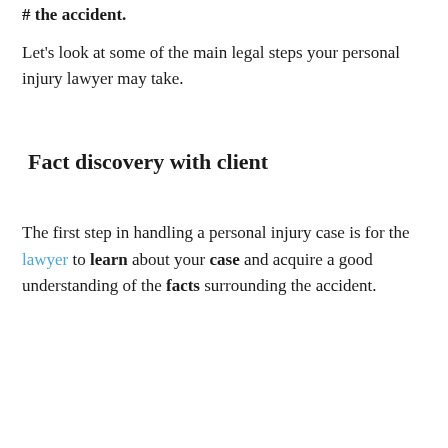# the accident.
Let’s look at some of the main legal steps your personal injury lawyer may take.
Fact discovery with client
The first step in handling a personal injury case is for the lawyer to learn about your case and acquire a good understanding of the facts surrounding the accident.